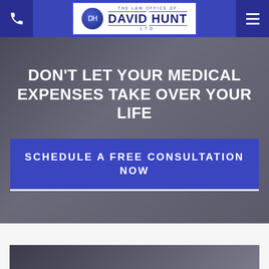The Law Office of David Hunt Ltd — header navigation bar with phone icon, logo, and menu icon
DON'T LET YOUR MEDICAL EXPENSES TAKE OVER YOUR LIFE
SCHEDULE A FREE CONSULTATION NOW
[Figure (photo): Partial view of a dark desk surface with documents or binders, bottom of page image strip]